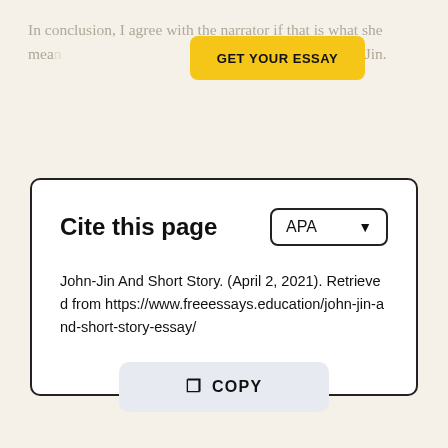In conclusion, I agree with the narrator if that is what she mea... aw her father wish for John-Jin.
GET YOUR ESSAY
Cite this page
APA
John-Jin And Short Story. (April 2, 2021). Retrieved from https://www.freeessays.education/john-jin-and-short-story-essay/
COPY